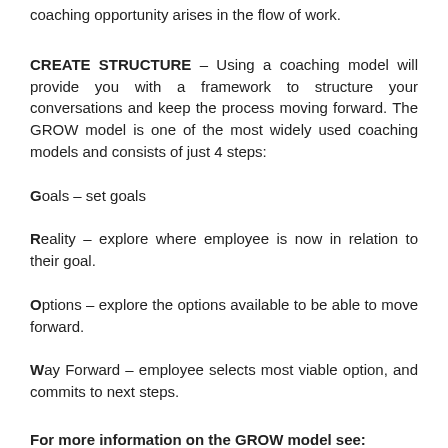coaching opportunity arises in the flow of work.
CREATE STRUCTURE – Using a coaching model will provide you with a framework to structure your conversations and keep the process moving forward. The GROW model is one of the most widely used coaching models and consists of just 4 steps:
Goals – set goals
Reality – explore where employee is now in relation to their goal.
Options – explore the options available to be able to move forward.
Way Forward – employee selects most viable option, and commits to next steps.
For more information on the GROW model see: